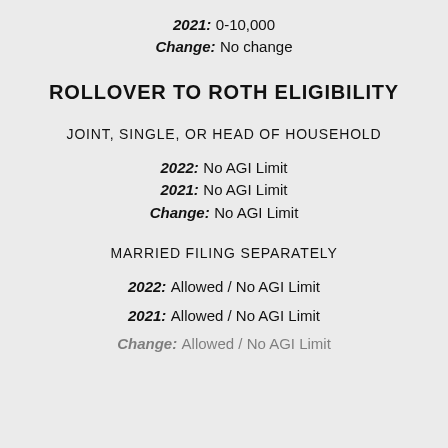2021: 0-10,000
Change: No change
ROLLOVER TO ROTH ELIGIBILITY
JOINT, SINGLE, OR HEAD OF HOUSEHOLD
2022: No AGI Limit
2021: No AGI Limit
Change: No AGI Limit
MARRIED FILING SEPARATELY
2022: Allowed / No AGI Limit
2021: Allowed / No AGI Limit